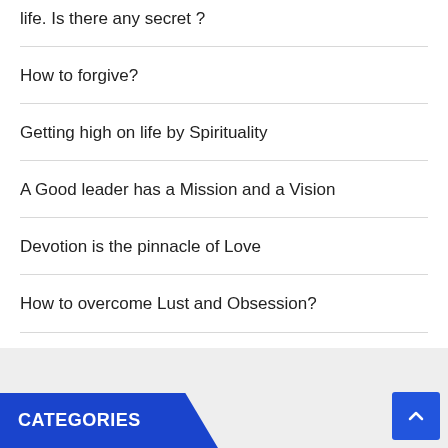life. Is there any secret ?
How to forgive?
Getting high on life by Spirituality
A Good leader has a Mission and a Vision
Devotion is the pinnacle of Love
How to overcome Lust and Obsession?
Am I making progress with my spiritual practices?
CATEGORIES